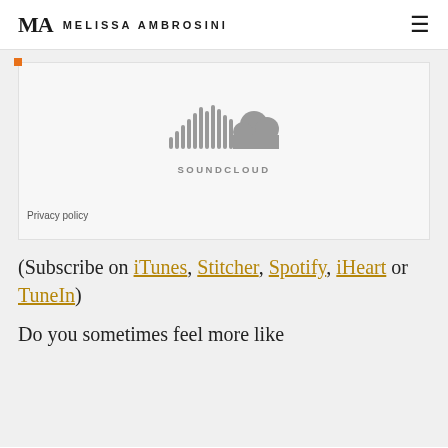MA MELISSA AMBROSINI
[Figure (logo): SoundCloud embedded player placeholder with SoundCloud logo and waveform icon in gray, with Privacy policy text below]
(Subscribe on iTunes, Stitcher, Spotify, iHeart or TuneIn)
Do you sometimes feel more like